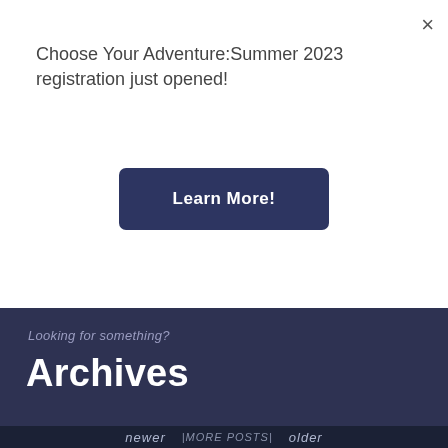Choose Your Adventure:Summer 2023 registration just opened!
Learn More!
×
Looking for something?
Archives
newer | MORE POSTS | older
Tweet  Share
[Figure (photo): Video thumbnail with text WATCH OUR VIDEO overlaid]